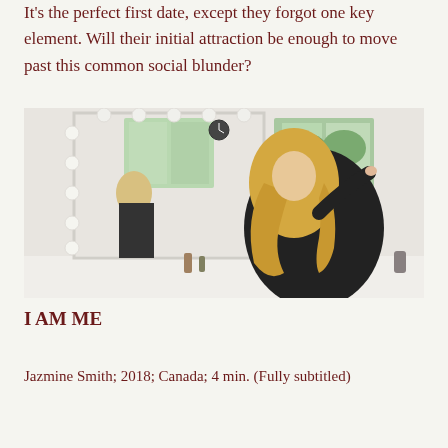It's the perfect first date, except they forgot one key element. Will their initial attraction be enough to move past this common social blunder?
[Figure (photo): A woman with long curly blonde hair wearing a black jacket leans close to a vanity mirror with Hollywood lights, applying makeup. The scene appears to be a dressing room with windows showing trees in the background.]
I AM ME
Jazmine Smith; 2018; Canada; 4 min. (Fully subtitled)